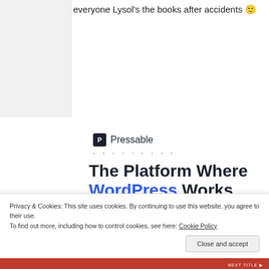everyone Lysol's the books after accidents 🙂
[Figure (screenshot): Pressable advertisement with logo, dotted separator, and headline 'The Platform Where WordPress Works Best' with a 'SEE PRICING' button]
Privacy & Cookies: This site uses cookies. By continuing to use this website, you agree to their use.
To find out more, including how to control cookies, see here: Cookie Policy
Close and accept